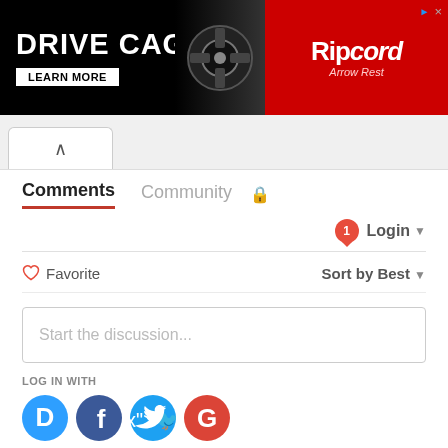[Figure (screenshot): Drive Cage advertisement banner with Ripcord Arrow Rest branding. Left side black background with white bold text 'DRIVE CAGE', a mechanical device image, and 'LEARN MORE' button. Right side red background with Ripcord logo.]
[Figure (screenshot): Tab navigation with up-arrow collapse button]
Comments  Community  🔒
Login ▾
♡ Favorite    Sort by Best ▾
Start the discussion...
LOG IN WITH
[Figure (logo): Social login icons: Disqus (blue D), Facebook (dark blue f), Twitter (light blue bird), Google (red G)]
OR SIGN UP WITH DISQUS ?
Name